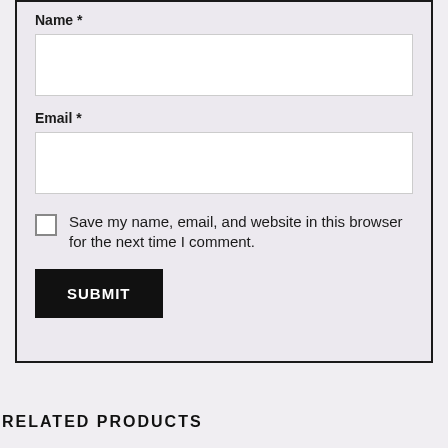Name *
Email *
Save my name, email, and website in this browser for the next time I comment.
SUBMIT
RELATED PRODUCTS